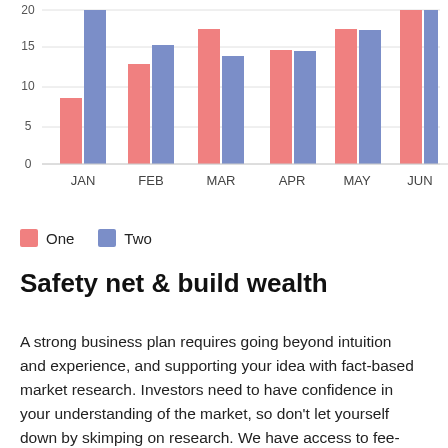[Figure (grouped-bar-chart): ]
One  Two
Safety net & build wealth
A strong business plan requires going beyond intuition and experience, and supporting your idea with fact-based market research. Investors need to have confidence in your understanding of the market, so don't let yourself down by skimping on research. We have access to fee-based, subscriber-only resources such as: